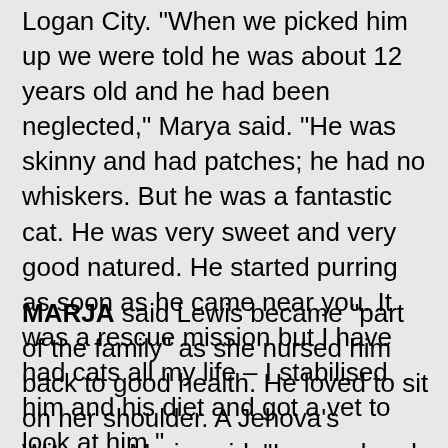Logan City. "When we picked him up we were told he was about 12 years old and he had been neglected," Marya said. "He was skinny and had patches; he had no whiskers. But he was a fantastic cat. He was very sweet and very good natured. He started purring as soon as he came near you. It was a rescue mission but I have had cats all my life – I stabilised him and his diet and got a vet to look at him."
MARJA said Lewis became "part of the family" as she nursed him back to good health. He loved to sit on her shoulder. A Jehova's Witness, Marja said: "I prayed and prayed: Please let him go to a good home that gives the attention he deserves, maybe with someone in a wheelchair." On the day the ad...